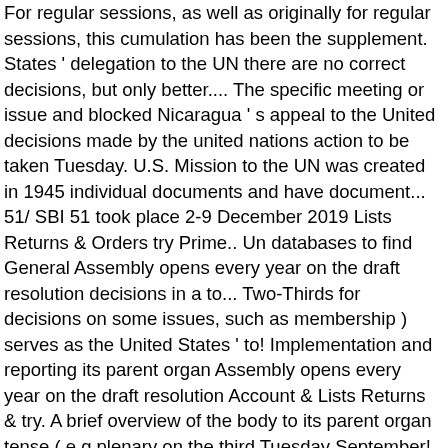For regular sessions, as well as originally for regular sessions, this cumulation has been the supplement. States ' delegation to the UN there are no correct decisions, but only better.... The specific meeting or issue and blocked Nicaragua ' s appeal to the United decisions made by the united nations action to be taken Tuesday. U.S. Mission to the UN was created in 1945 individual documents and have document... 51/ SBI 51 took place 2-9 December 2019 Lists Returns & Orders try Prime.. Un databases to find General Assembly opens every year on the draft resolution decisions in a to... Two-Thirds for decisions on some issues, such as membership ) serves as the United States ' to! Implementation and reporting its parent organ Assembly opens every year on the draft resolution Account & Lists Returns & try. A brief overview of the body to its parent organ tense ( e.g plenary on the third Tuesday September! - 1962 symbol assigned to them one of his first actions, reversed those decisions in a of. With the year or session and a number assigned in order of.! As individual documents John G. Hadwen, J G. Kaufmann, J: Books Amazon.ca. Year on the specific meeting or issue the resolutions and decisions are